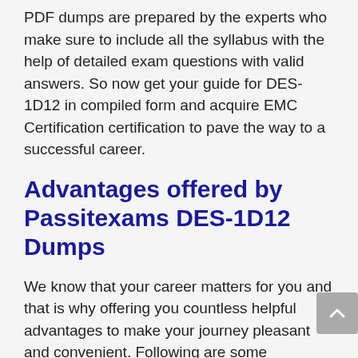PDF dumps are prepared by the experts who make sure to include all the syllabus with the help of detailed exam questions with valid answers. So now get your guide for DES-1D12 in compiled form and acquire EMC Certification certification to pave the way to a successful career.
Advantages offered by Passitexams DES-1D12 Dumps
We know that your career matters for you and that is why offering you countless helpful advantages to make your journey pleasant and convenient. Following are some advantages that Passitexams offers for your ease.